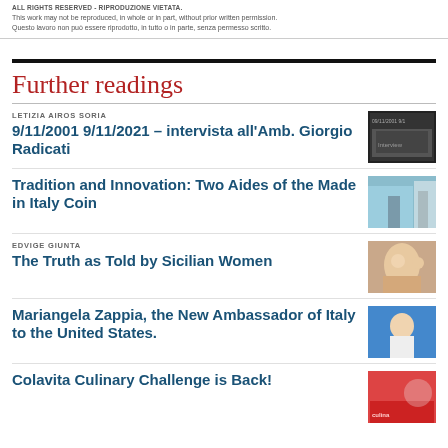ALL RIGHTS RESERVED - RIPRODUZIONE VIETATA.
This work may not be reproduced, in whole or in part, without prior written permission.
Questo lavoro non può essere riprodotto, in tutto o in parte, senza permesso scritto.
Further readings
LETIZIA AIROS SORIA
9/11/2001 9/11/2021 – intervista all'Amb. Giorgio Radicati
[Figure (photo): Thumbnail image related to 9/11 article]
Tradition and Innovation: Two Aides of the Made in Italy Coin
[Figure (photo): Thumbnail image related to Made in Italy article]
EDVIGE GIUNTA
The Truth as Told by Sicilian Women
[Figure (photo): Thumbnail image related to Sicilian Women article]
Mariangela Zappia, the New Ambassador of Italy to the United States.
[Figure (photo): Thumbnail image related to Ambassador article]
Colavita Culinary Challenge is Back!
[Figure (photo): Thumbnail image related to Colavita article]